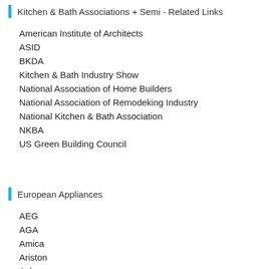Kitchen & Bath Associations + Semi - Related Links
American Institute of Architects
ASID
BKDA
Kitchen & Bath Industry Show
National Association of Home Builders
National Association of Remodeking Industry
National Kitchen & Bath Association
NKBA
US Green Building Council
European Appliances
AEG
AGA
Amica
Ariston
Asko
Atag